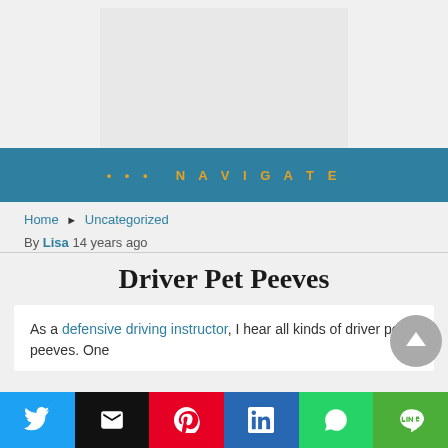[Figure (other): Advertisement banner placeholder, light grey rectangle]
••• NAVIGATE
Home ► Uncategorized
By Lisa 14 years ago
Driver Pet Peeves
As a defensive driving instructor, I hear all kinds of driver pet peeves. One
[Figure (infographic): Social share bar with Twitter, Email, Pinterest, LinkedIn, WhatsApp, LINE buttons]